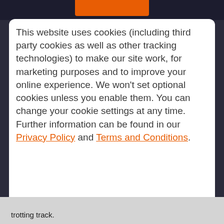This website uses cookies (including third party cookies as well as other tracking technologies) to make our site work, for marketing purposes and to improve your online experience. We won't set optional cookies unless you enable them. You can change your cookie settings at any time. Further information can be found in our Privacy Policy and Terms and Conditions.
Reject All
Accept All Cookies
Cookies Settings
trotting track.